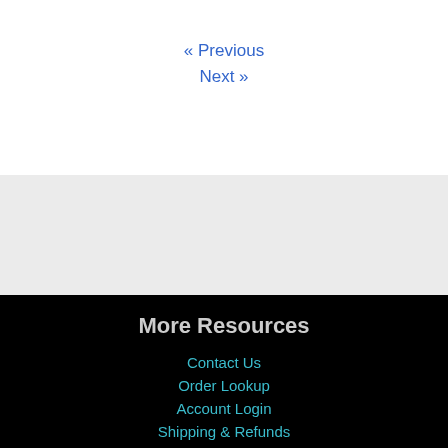« Previous
Next »
More Resources
Contact Us
Order Lookup
Account Login
Shipping & Refunds